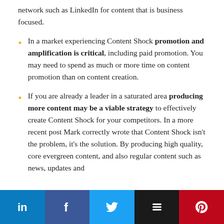network such as LinkedIn for content that is business focused.
In a market experiencing Content Shock promotion and amplification is critical, including paid promotion. You may need to spend as much or more time on content promotion than on content creation.
If you are already a leader in a saturated area producing more content may be a viable strategy to effectively create Content Shock for your competitors. In a more recent post Mark correctly wrote that Content Shock isn't the problem, it's the solution. By producing high quality, core evergreen content, and also regular content such as news, updates and
[Figure (infographic): Social media sharing bar with LinkedIn (light blue), Facebook (dark blue), Twitter (blue), Buffer (black), and Pinterest (red) buttons with their respective icons.]